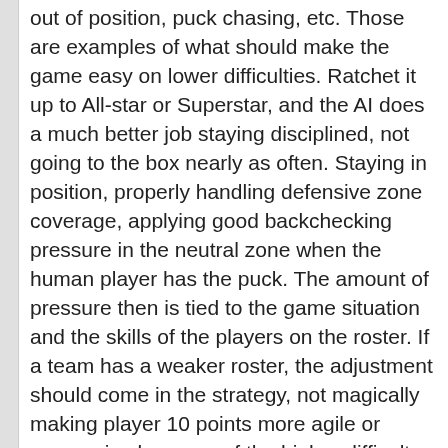out of position, puck chasing, etc. Those are examples of what should make the game easy on lower difficulties. Ratchet it up to All-star or Superstar, and the AI does a much better job staying disciplined, not going to the box nearly as often. Staying in position, properly handling defensive zone coverage, applying good backchecking pressure in the neutral zone when the human player has the puck. The amount of pressure then is tied to the game situation and the skills of the players on the roster. If a team has a weaker roster, the adjustment should come in the strategy, not magically making player 10 points more agile or aggressive because of the higher difficulty. If they have lowered rated skaters, then the decision should be to play more of a trapping style in the NZ, and allow the transition game to spark the offense, just as one example. On top of that, the game can be made quite dynamic by actually making the fatigue, endurance, poise, and aggressiveness attributes matter. Aggressiveness leads to a player taking more chances, which means sometimes he will step up and make a big hit instead of playing the position. He might also take an elbowing penalty because of his